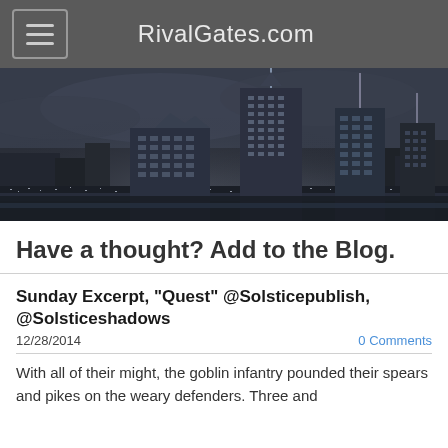RivalGates.com
[Figure (photo): Black and white nighttime cityscape with tall skyscrapers and city lights]
Have a thought? Add to the Blog.
Sunday Excerpt, "Quest" @Solsticepublish, @Solsticeshadows
12/28/2014    0 Comments
With all of their might, the goblin infantry pounded their spears and pikes on the weary defenders. Three and